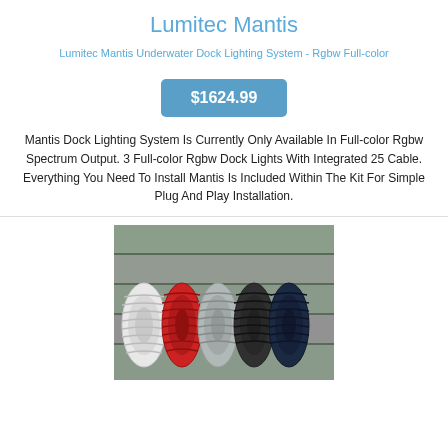Lumitec Mantis
Lumitec Mantis Underwater Dock Lighting System - Rgbw Full-color
$1624.99
Mantis Dock Lighting System Is Currently Only Available In Full-color Rgbw Spectrum Output. 3 Full-color Rgbw Dock Lights With Integrated 25 Cable. Everything You Need To Install Mantis Is Included Within The Kit For Simple Plug And Play Installation.
[Figure (photo): Photo of multiple coiled ropes in various colors (white, red, grey, black, dark navy, dark green) laid on a wooden dock surface]